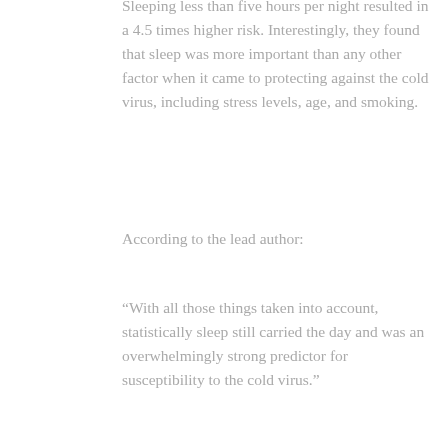Sleeping less than five hours per night resulted in a 4.5 times higher risk. Interestingly, they found that sleep was more important than any other factor when it came to protecting against the cold virus, including stress levels, age, and smoking.
According to the lead author:
“With all those things taken into account, statistically sleep still carried the day and was an overwhelmingly strong predictor for susceptibility to the cold virus.”
As noted by Dr. Nathaniel F. Watson, president of the American Academy of Sleep Medicine:6
“This study reinforces the notion that sleep is just as important to your health as diet and exercise. People need to view sleep as a tool to achieve a healthy life,